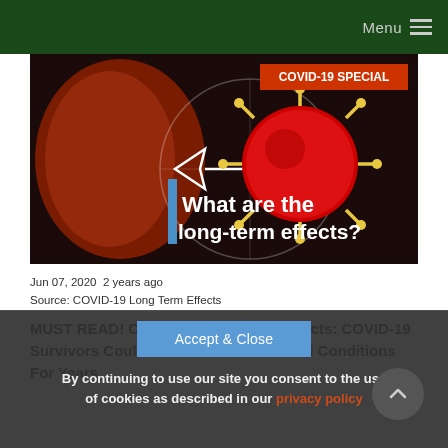Menu
[Figure (photo): Medical illustration showing COVID-19 virus particles (red/gold spiky spheres) with text overlay: 'COVID-19 SPECIAL' in top right corner and 'What are the long-term effects?' in white bold text on dark background.]
Jun 07, 2020  2 years ago
Source: COVID-19 Long Term Effects
MUST READ! COVID-19 Long Term Effects: COVID-19 Survivors Could Suffer Chronic Medical Conditions For Years
Accept & Close
By continuing to use our site you consent to the use of cookies as described in our privacy policy